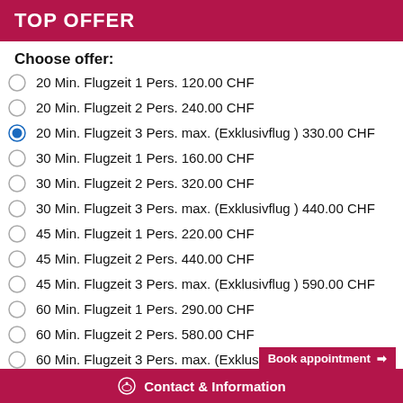TOP OFFER
Choose offer:
20 Min. Flugzeit 1 Pers. 120.00 CHF
20 Min. Flugzeit 2 Pers. 240.00 CHF
20 Min. Flugzeit 3 Pers. max. (Exklusivflug ) 330.00 CHF
30 Min. Flugzeit 1 Pers. 160.00 CHF
30 Min. Flugzeit 2 Pers. 320.00 CHF
30 Min. Flugzeit 3 Pers. max. (Exklusivflug ) 440.00 CHF
45 Min. Flugzeit 1 Pers. 220.00 CHF
45 Min. Flugzeit 2 Pers. 440.00 CHF
45 Min. Flugzeit 3 Pers. max. (Exklusivflug ) 590.00 CHF
60 Min. Flugzeit 1 Pers. 290.00 CHF
60 Min. Flugzeit 2 Pers. 580.00 CHF
60 Min. Flugzeit 3 Pers. max. (Exklusivflu…
90 Min. Flugzeit 1 Pers. 430.00 CHF
Contact & Information